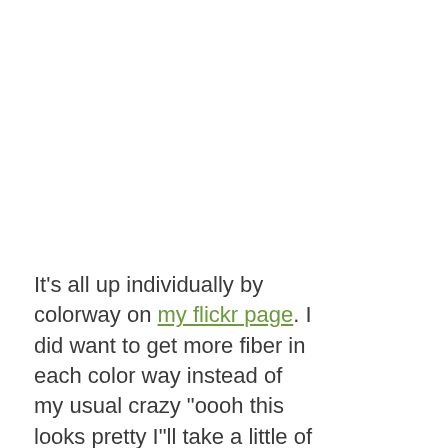It's all up individually by colorway on my flickr page. I did want to get more fiber in each color way instead of my usual crazy "oooh this looks pretty I"ll take a little of this little of that" shopping that I do there. I went right away to find the awesome one pound bumps that I got last year. I